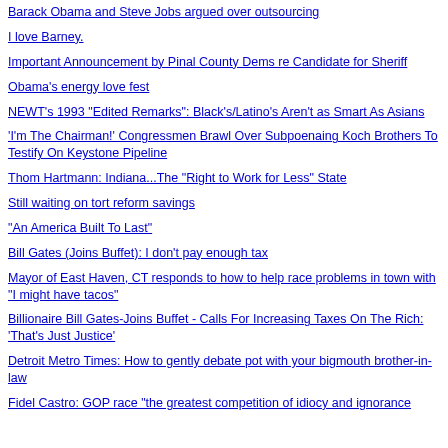Barack Obama and Steve Jobs argued over outsourcing
I love Barney.
Important Announcement by Pinal County Dems re Candidate for Sheriff
Obama's energy love fest
NEWT's 1993 "Edited Remarks": Black's/Latino's Aren't as Smart As Asians
'I'm The Chairman!' Congressmen Brawl Over Subpoenaing Koch Brothers To Testify On Keystone Pipeline
Thom Hartmann: Indiana...The "Right to Work for Less" State
Still waiting on tort reform savings
"An America Built To Last"
Bill Gates (Joins Buffet): I don't pay enough tax
Mayor of East Haven, CT responds to how to help race problems in town with "I might have tacos"
Billionaire Bill Gates-Joins Buffet - Calls For Increasing Taxes On The Rich: 'That's Just Justice'
Detroit Metro Times: How to gently debate pot with your bigmouth brother-in-law
Fidel Castro: GOP race "the greatest competition of idiocy and ignorance